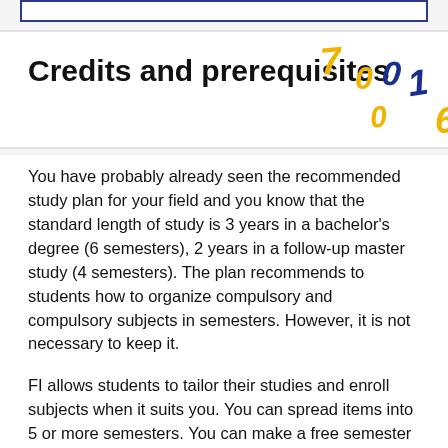[Figure (other): Blue bordered rectangle at top of page]
Credits and prerequisites
You have probably already seen the recommended study plan for your field and you know that the standard length of study is 3 years in a bachelor's degree (6 semesters), 2 years in a follow-up master study (4 semesters). The plan recommends to students how to organize compulsory and compulsory subjects in semesters. However, it is not necessary to keep it.
FI allows students to tailor their studies and enroll subjects when it suits you. You can spread items into 5 or more semesters. You can make a free semester and go abroad or relax for an interesting bachelor in the 3rd semester. In